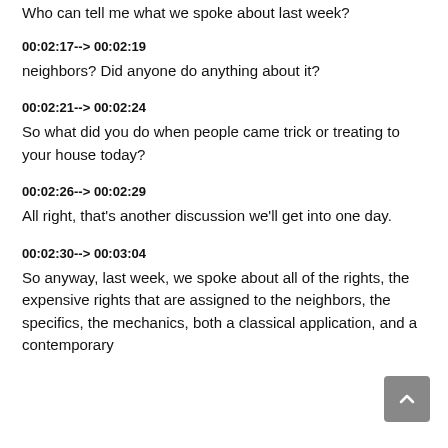Who can tell me what we spoke about last week?
00:02:17--> 00:02:19
neighbors? Did anyone do anything about it?
00:02:21--> 00:02:24
So what did you do when people came trick or treating to your house today?
00:02:26--> 00:02:29
All right, that's another discussion we'll get into one day.
00:02:30--> 00:03:04
So anyway, last week, we spoke about all of the rights, the expensive rights that are assigned to the neighbors, the specifics, the mechanics, both a classical application, and a contemporary